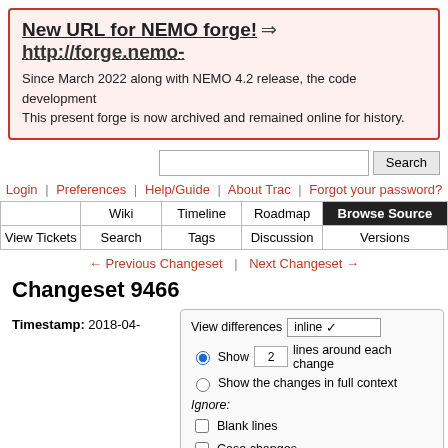New URL for NEMO forge! ⇒ http://forge.nemo- ... Since March 2022 along with NEMO 4.2 release, the code development ... This present forge is now archived and remained online for history.
Search
Login | Preferences | Help/Guide | About Trac | Forgot your password?
| Wiki | Timeline | Roadmap | Browse Source |
| --- | --- | --- | --- |
| View Tickets | Search | Tags | Discussion | Versions |
← Previous Changeset | Next Changeset →
Changeset 9466
Timestamp: 2018-04-
View differences inline ∨ Show 2 lines around each change Show the changes in full context Ignore: Blank lines Case changes White space changes